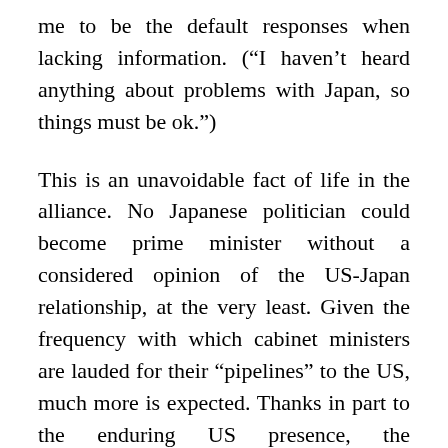me to be the default responses when lacking information. (“I haven’t heard anything about problems with Japan, so things must be ok.”)
This is an unavoidable fact of life in the alliance. No Japanese politician could become prime minister without a considered opinion of the US-Japan relationship, at the very least. Given the frequency with which cabinet ministers are lauded for their “pipelines” to the US, much more is expected. Thanks in part to the enduring US presence, the relationship with the US is at the forefront of political discussions.
And in the US? Japan barely merits mention in debates among presidential candidates, and has even less